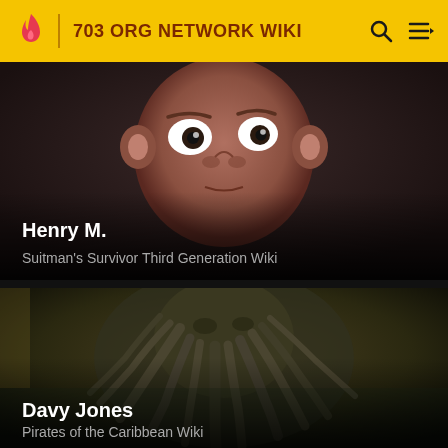703 ORG NETWORK WIKI
[Figure (illustration): Animated cartoon character face (Henry M.) with brown skin, large eyes, on dark background]
Henry M.
Suitman's Survivor Third Generation Wiki
[Figure (photo): Davy Jones character from Pirates of the Caribbean, creature with tentacle/vine-like beard, dark moody scene]
Davy Jones
Pirates of the Caribbean Wiki